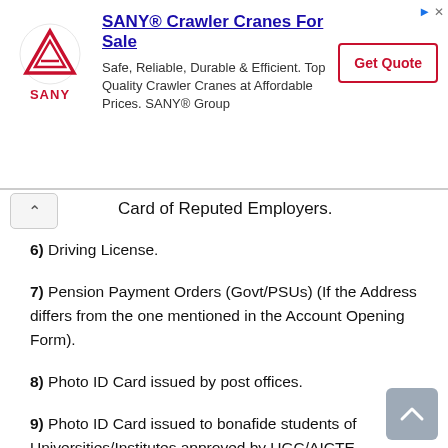[Figure (screenshot): SANY Crawler Cranes advertisement banner with logo, headline, description text, and Get Quote button]
Card of Reputed Employers.
6) Driving License.
7) Pension Payment Orders (Govt/PSUs) (If the Address differs from the one mentioned in the Account Opening Form).
8) Photo ID Card issued by post offices.
9) Photo ID Card issued to bonafide students of Universities/Institutes approved by UGC/AICTE.
Address Proof Documents for Opening Savings Bank Account in Bank of India
1) Aadhaar Card.